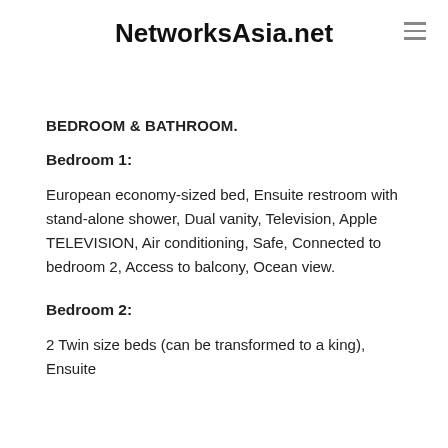NetworksAsia.net
BEDROOM & BATHROOM.
Bedroom 1:
European economy-sized bed, Ensuite restroom with stand-alone shower, Dual vanity, Television, Apple TELEVISION, Air conditioning, Safe, Connected to bedroom 2, Access to balcony, Ocean view.
Bedroom 2:
2 Twin size beds (can be transformed to a king), Ensuite